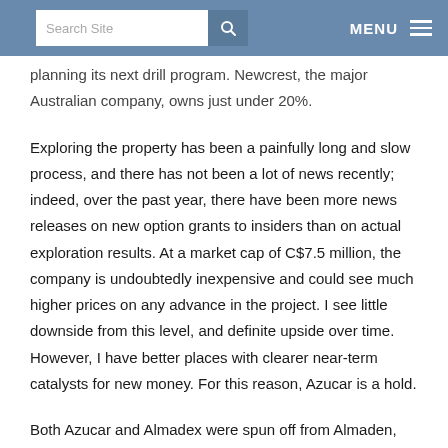Search Site | MENU
planning its next drill program. Newcrest, the major Australian company, owns just under 20%.
Exploring the property has been a painfully long and slow process, and there has not been a lot of news recently; indeed, over the past year, there have been more news releases on new option grants to insiders than on actual exploration results. At a market cap of C$7.5 million, the company is undoubtedly inexpensive and could see much higher prices on any advance in the project. I see little downside from this level, and definite upside over time. However, I have better places with clearer near-term catalysts for new money. For this reason, Azucar is a hold.
Both Azucar and Almadex were spun off from Almaden,